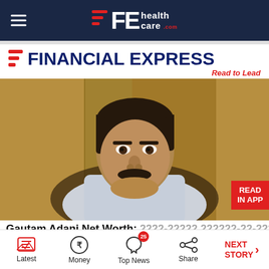FE healthcare.com
[Figure (logo): Financial Express logo with tagline 'Read to Lead']
[Figure (photo): Portrait photo of Gautam Adani seated, wearing white shirt, with 'READ IN APP' red badge overlay]
Gautam Adani Net Worth: 2222-22222 222222-22-22222
Latest | Money | Top News (25) | Share | NEXT STORY